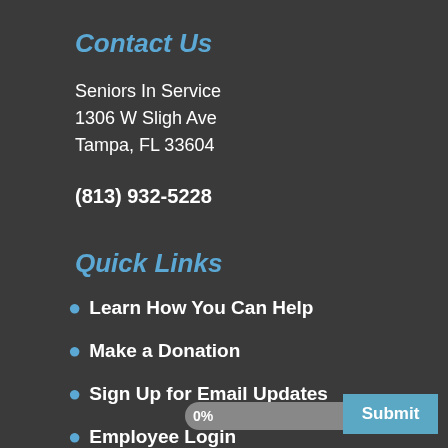Contact Us
Seniors In Service
1306 W Sligh Ave
Tampa, FL 33604
(813) 932-5228
Quick Links
Learn How You Can Help
Make a Donation
Sign Up for Email Updates
Employee Login
We're on Facebook
Aug 21, 2023 @ 6:57—